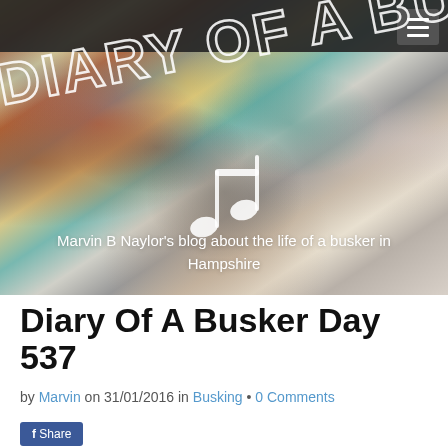[Figure (illustration): Header banner image for 'Diary Of A Busk' blog. Watercolor painting of people on a street/shopping area. Overlaid text: 'DIARY OF A BUSK' in large diagonal white outlined letters, a musical note icon, and subtitle text 'Marvin B Naylor's blog about the life of a busker in Hampshire'. Dark navigation bar at top with hamburger menu button on right.]
Diary Of A Busker Day 537
by Marvin on 31/01/2016 in Busking • 0 Comments